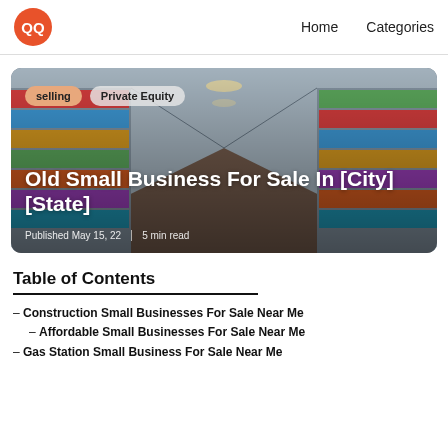QQ  Home  Categories
[Figure (photo): Hero image of a grocery store aisle with shelves stocked with products, overlaid with tags 'selling' and 'Private Equity', article title 'Old Small Business For Sale In [City] [State]', and metadata 'Published May 15, 22 | 5 min read']
Table of Contents
– Construction Small Businesses For Sale Near Me
– Affordable Small Businesses For Sale Near Me
– Gas Station Small Business For Sale Near Me